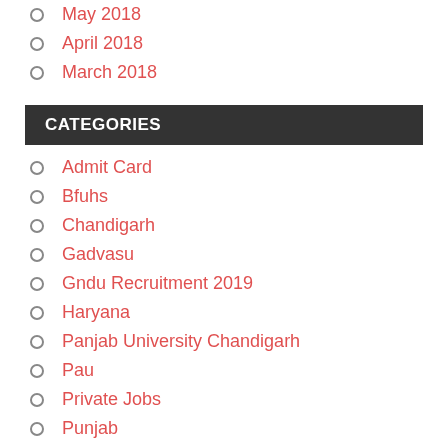May 2018
April 2018
March 2018
CATEGORIES
Admit Card
Bfuhs
Chandigarh
Gadvasu
Gndu Recruitment 2019
Haryana
Panjab University Chandigarh
Pau
Private Jobs
Punjab
Punjab Teaching Jobs